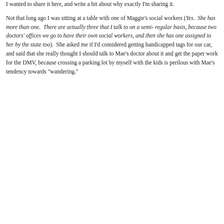I wanted to share it here, and write a bit about why exactly I'm sharing it.

Not that long ago I was sitting at a table with one of Maggie's social workers (Yes.  She has more than one.  There are actually three that I talk to on a semi- regular basis, because two doctors' offices we go to have their own social workers, and then she has one assigned to her by the state too).  She asked me if I'd considered getting handicapped tags for our car, and said that she really thought I should talk to Mae's doctor about it and get the paper work for the DMV, because crossing a parking lot by myself with the kids is perilous with Mae's tendency towards "wandering."